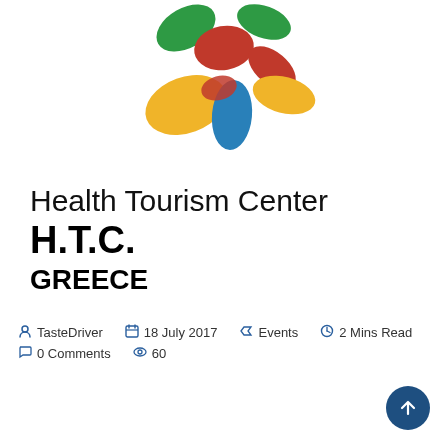[Figure (logo): Health Tourism Center HTC Greece colorful logo with abstract flower/puzzle shapes in green, red, yellow, and blue]
Health Tourism Center
H.T.C.
GREECE
TasteDriver   18 July 2017   Events   2 Mins Read   0 Comments   60